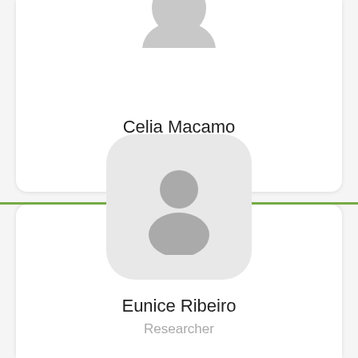[Figure (illustration): Profile card for Celia Macamo showing a partial grey avatar icon at top]
Celia Macamo
Researcher
[Figure (illustration): Profile card for Eunice Ribeiro showing a grey default user avatar icon with rounded square background]
Eunice Ribeiro
Researcher